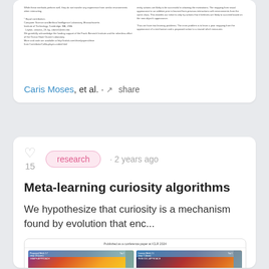[Figure (screenshot): Top card showing a preview of a scientific paper with two-column text layout]
Caris Moses, et al. · share
research · 2 years ago
Meta-learning curiosity algorithms
We hypothesize that curiosity is a mechanism found by evolution that enc...
[Figure (screenshot): Paper preview thumbnail showing heatmap figures with histogram sidebars, captioned 'Figure 4: Correlation between program performance in px identified and number occurrences to closest basket on the left, sorted by the right, using the top 1000 programs in grammar. Performance is']